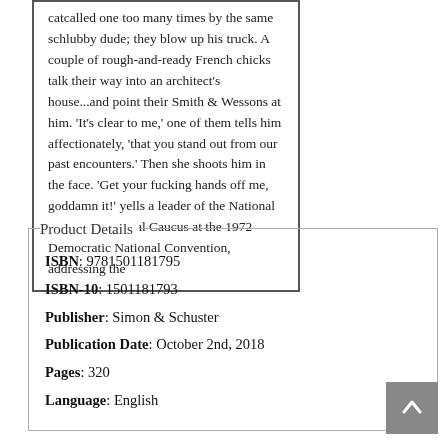catcalled one too many times by the same schlubby dude; they blow up his truck. A couple of rough-and-ready French chicks talk their way into an architect's house...and point their Smith & Wessons at him. 'It's clear to me,' one of them tells him affectionately, 'that you stand out from our past encounters.' Then she shoots him in the face. 'Get your fucking hands off me, goddamn it!' yells a leader of the National Women's Political Caucus at the 1972 Democratic National Convention, addressing the
Product Details
ISBN: 9781501181795
ISBN-10: 1501181793
Publisher: Simon & Schuster
Publication Date: October 2nd, 2018
Pages: 320
Language: English